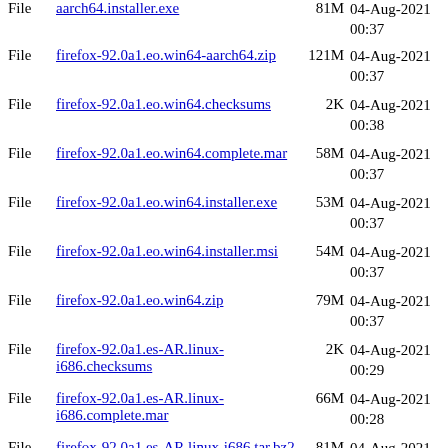File aarch64.installer.exe 81M 04-Aug-2021 00:37
File firefox-92.0a1.eo.win64-aarch64.zip 121M 04-Aug-2021 00:37
File firefox-92.0a1.eo.win64.checksums 2K 04-Aug-2021 00:38
File firefox-92.0a1.eo.win64.complete.mar 58M 04-Aug-2021 00:37
File firefox-92.0a1.eo.win64.installer.exe 53M 04-Aug-2021 00:37
File firefox-92.0a1.eo.win64.installer.msi 54M 04-Aug-2021 00:37
File firefox-92.0a1.eo.win64.zip 79M 04-Aug-2021 00:37
File firefox-92.0a1.es-AR.linux-i686.checksums 2K 04-Aug-2021 00:29
File firefox-92.0a1.es-AR.linux-i686.complete.mar 66M 04-Aug-2021 00:28
File firefox-92.0a1.es-AR.linux-i686.tar.bz2 81M 04-Aug-2021 00:28
File firefox-92.0a1.es-AR.linux-i686.tar.bz2.asc 833 04-Aug-2021 00:28
File firefox-92.0a1.es-AR.linux-x86_64.checksums 2K 04-Aug-2021 00:10